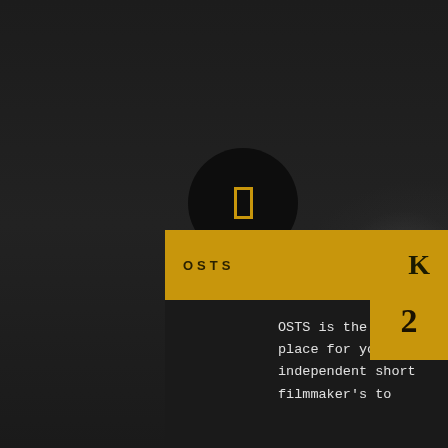[Figure (illustration): Dark background page with a circular play button icon (dark circle with golden rectangle/play icon) centered in the upper portion, and a light grey blurred circular glow on the right side]
OSTS    K
OSTS is the best place for young independent short filmmaker's to